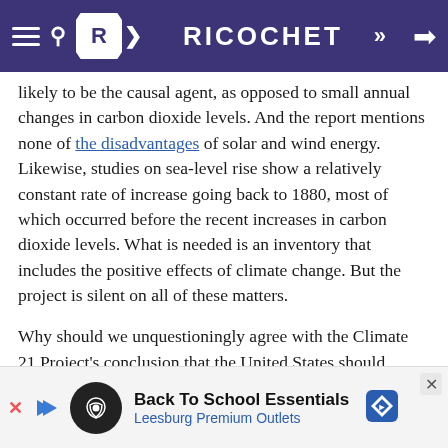RICOCHET
likely to be the causal agent, as opposed to small annual changes in carbon dioxide levels. And the report mentions none of the disadvantages of solar and wind energy. Likewise, studies on sea-level rise show a relatively constant rate of increase going back to 1880, most of which occurred before the recent increases in carbon dioxide levels. What is needed is an inventory that includes the positive effects of climate change. But the project is silent on all of these matters.
Why should we unquestioningly agree with the Climate 21 Project’s conclusion that the United States should rejoin the Paris Agreement? Before making that decision, at least some attention should be paid
[Figure (screenshot): Advertisement banner for Back To School Essentials at Leesburg Premium Outlets]